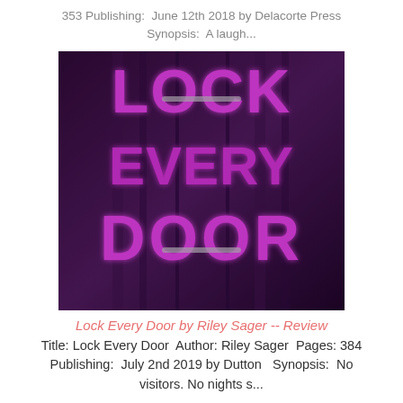353 Publishing:  June 12th 2018 by Delacorte Press
Synopsis:  A laugh...
[Figure (photo): Book cover of 'Lock Every Door' with bright pink neon text on a dark purple/maroon background, showing the words LOCK EVERY DOOR stacked vertically]
Lock Every Door by Riley Sager -- Review
Title: Lock Every Door  Author: Riley Sager  Pages: 384  Publishing:  July 2nd 2019 by Dutton   Synopsis:  No visitors. No nights s...